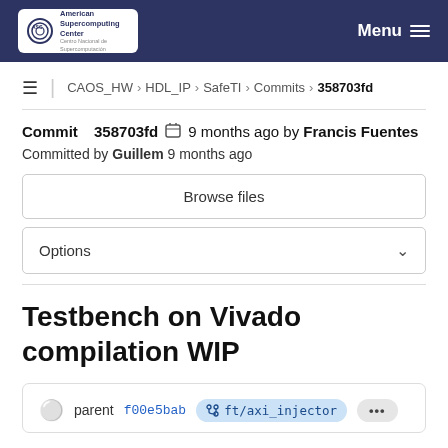ASC American Supercomputing Center — Menu
CAOS_HW › HDL_IP › SafeTI › Commits › 358703fd
Commit 358703fd  9 months ago by Francis Fuentes
Committed by Guillem 9 months ago
Browse files
Options
Testbench on Vivado compilation WIP
parent f00e5bab  ft/axi_injector  ...